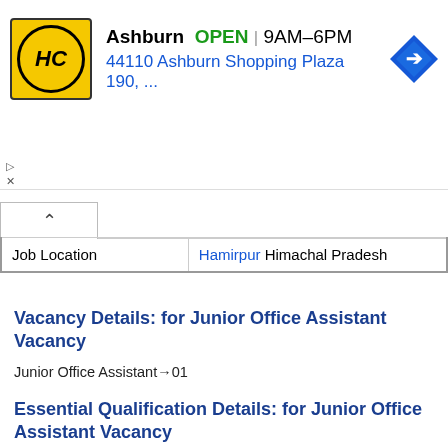[Figure (screenshot): Advertisement banner for HC store in Ashburn, showing OPEN 9AM–6PM, address 44110 Ashburn Shopping Plaza 190, with navigation arrow icon]
| Job Location | Hamirpur Himachal Pradesh |
Vacancy Details: for Junior Office Assistant Vacancy
Junior Office Assistant→01
Essential Qualification Details: for Junior Office Assistant Vacancy
Junior Office Assistant→As per HPPSC official notification candidate should have completed ITI, 12th, Diploma from any of the recognized board or